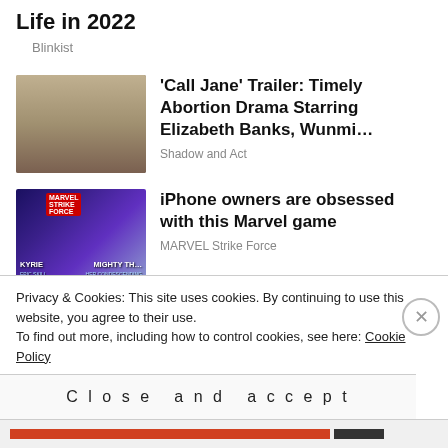Life in 2022
Blinkist
'Call Jane' Trailer: Timely Abortion Drama Starring Elizabeth Banks, Wunmi…
Shadow and Act
iPhone owners are obsessed with this Marvel game
MARVEL Strike Force
Privacy & Cookies: This site uses cookies. By continuing to use this website, you agree to their use.
To find out more, including how to control cookies, see here: Cookie Policy
Close and accept